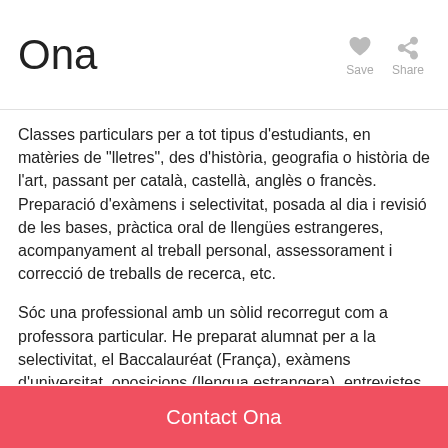Ona
Classes particulars per a tot tipus d'estudiants, en matèries de "lletres", des d'història, geografia o història de l'art, passant per català, castellà, anglès o francès. Preparació d'exàmens i selectivitat, posada al dia i revisió de les bases, pràctica oral de llengües estrangeres, acompanyament al treball personal, assessorament i correcció de treballs de recerca, etc.
Sóc una professional amb un sòlid recorregut com a professora particular. He preparat alumnat per a la selectivitat, el Baccalauréat (França), exàmens d'universitat, oposicions (llengua estrangera), entrevistes de feina i beques. Estic acostumada a adaptar-me a les necessitats i ritme de cada alumne/a, a respectar les seves particularitats i fer brillar els seus punts positius. M'agrada pensar que no només ajudo al meu alumnat pel que fa a les matèries que estudiem
Contact Ona